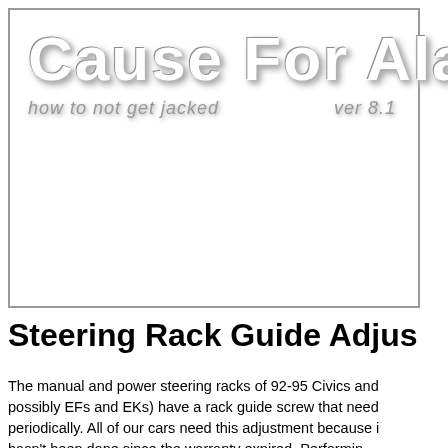[Figure (logo): Cause For Alarm logo with large white text with shadow effect, subtitle 'how to not get jacked' and version 'ver 8.1']
Steering Rack Guide Adju
The manual and power steering racks of 92-95 Civics and (possibly EFs and EKs) have a rack guide screw that needs periodically. All of our cars need this adjustment because it hasn't been done since the warranty expired. Performing